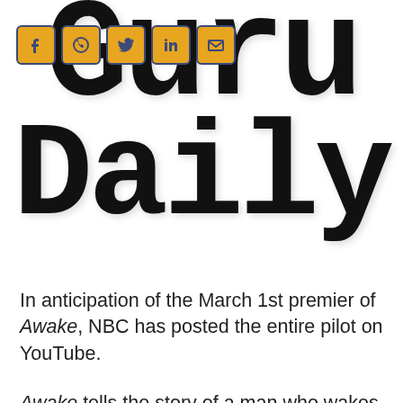[Figure (logo): Guru Daily logo — large serif/monospace bold text reading 'Guru Daily' with social media icon buttons (Facebook, WhatsApp, Twitter, LinkedIn, Email) overlaid on the G]
In anticipation of the March 1st premier of Awake, NBC has posted the entire pilot on YouTube.
Awake tells the story of a man who wakes up